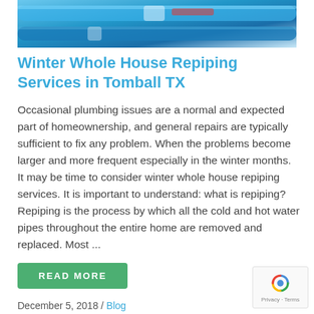[Figure (photo): Close-up photo of blue and white pipes, plumbing related image]
Winter Whole House Repiping Services in Tomball TX
Occasional plumbing issues are a normal and expected part of homeownership, and general repairs are typically sufficient to fix any problem. When the problems become larger and more frequent especially in the winter months. It may be time to consider winter whole house repiping services. It is important to understand: what is repiping? Repiping is the process by which all the cold and hot water pipes throughout the entire home are removed and replaced. Most ...
READ MORE
December 5, 2018 / Blog